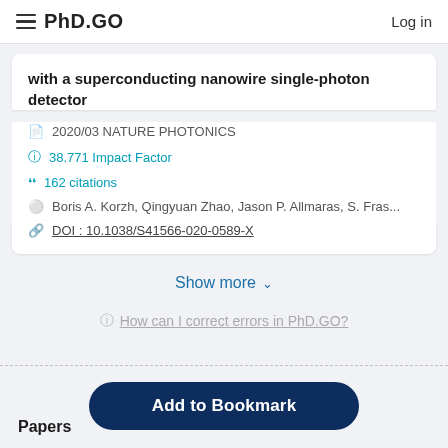PhD.GO  Log in
with a superconducting nanowire single-photon detector
2020/03 NATURE PHOTONICS
38.771 Impact Factor
162 citations
Boris A. Korzh, Qingyuan Zhao, Jason P. Allmaras, S. Fras...
DOI : 10.1038/S41566-020-0589-X
Show more
How can I correct errors in PhD.GO?
Add to Bookmark
Papers